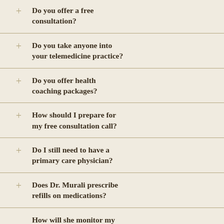Do you offer a free consultation?
Do you take anyone into your telemedicine practice?
Do you offer health coaching packages?
How should I prepare for my free consultation call?
Do I still need to have a primary care physician?
Does Dr. Murali prescribe refills on medications?
How will she monitor my treatments and medications?